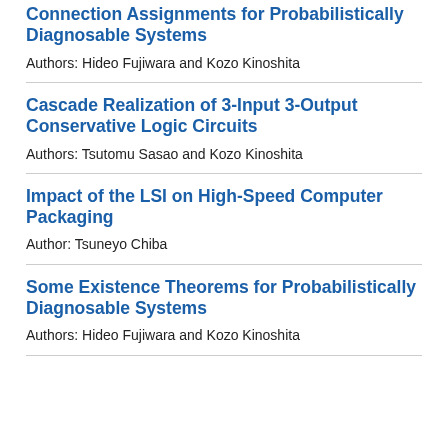Connection Assignments for Probabilistically Diagnosable Systems
Authors: Hideo Fujiwara and Kozo Kinoshita
Cascade Realization of 3-Input 3-Output Conservative Logic Circuits
Authors: Tsutomu Sasao and Kozo Kinoshita
Impact of the LSI on High-Speed Computer Packaging
Author: Tsuneyo Chiba
Some Existence Theorems for Probabilistically Diagnosable Systems
Authors: Hideo Fujiwara and Kozo Kinoshita